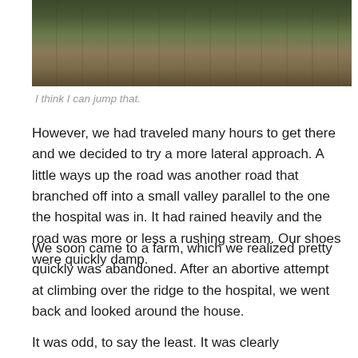[Figure (photo): Partial view of an outdoor scene showing vegetation, rocks, and wooden decking or logs from an elevated angle]
I think I can jump that.
However, we had traveled many hours to get there and we decided to try a more lateral approach. A little ways up the road was another road that branched off into a small valley parallel to the one the hospital was in. It had rained heavily and the road was more or less a rushing stream. Our shoes were quickly damp.
We soon came to a farm, which we realized pretty quickly was abandoned. After an abortive attempt at climbing over the ridge to the hospital, we went back and looked around the house.
It was odd, to say the least. It was clearly abandoned–the